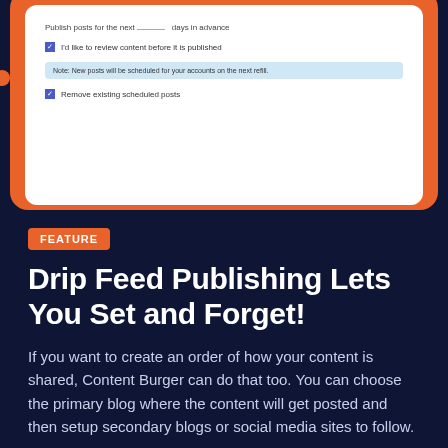[Figure (screenshot): Screenshot of a content scheduling UI showing fields for publish frequency, a checkbox 'I'd like to review content before it is published', a note about new posts being scheduled on the next refill, and a checkbox 'Remove existing scheduled posts'. The screenshot is displayed on an orange-bordered device frame.]
FEATURE
Drip Feed Publishing Lets You Set and Forget!
If you want to create an order of how your content is shared, Content Burger can do that too. You can choose the primary blog where the content will get posted and then setup secondary blogs or social media sites to follow.
This is a great strategy for SEO as your site will